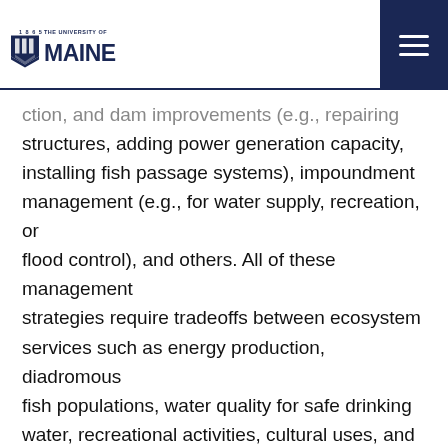THE UNIVERSITY OF MAINE 1865
ction, and dam improvements (e.g., repairing structures, adding power generation capacity, installing fish passage systems), impoundment management (e.g., for water supply, recreation, or flood control), and others. All of these management strategies require tradeoffs between ecosystem services such as energy production, diadromous fish populations, water quality for safe drinking water, recreational activities, cultural uses, and more.
The high density of dams in New England makes coordinated decision-making across dams within a river basin or larger region essential. Accordingly, the Future of Dams team will test hypotheses about tradeoffs by using sets of case studies in coastal